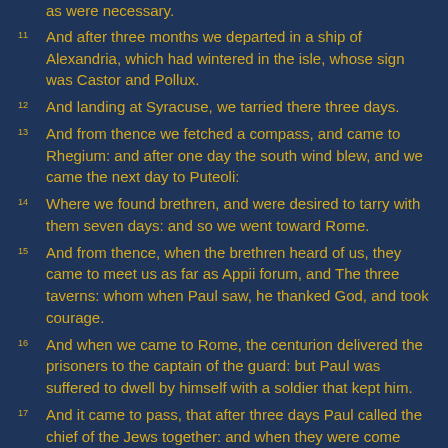as were necessary.
11 And after three months we departed in a ship of Alexandria, which had wintered in the isle, whose sign was Castor and Pollux.
12 And landing at Syracuse, we tarried there three days.
13 And from thence we fetched a compass, and came to Rhegium: and after one day the south wind blew, and we came the next day to Puteoli:
14 Where we found brethren, and were desired to tarry with them seven days: and so we went toward Rome.
15 And from thence, when the brethren heard of us, they came to meet us as far as Appii forum, and The three taverns: whom when Paul saw, he thanked God, and took courage.
16 And when we came to Rome, the centurion delivered the prisoners to the captain of the guard: but Paul was suffered to dwell by himself with a soldier that kept him.
17 And it came to pass, that after three days Paul called the chief of the Jews together: and when they were come together, he said unto them, Men and brethren, though I have committed nothing against the people, or customs of our fathers, yet was I